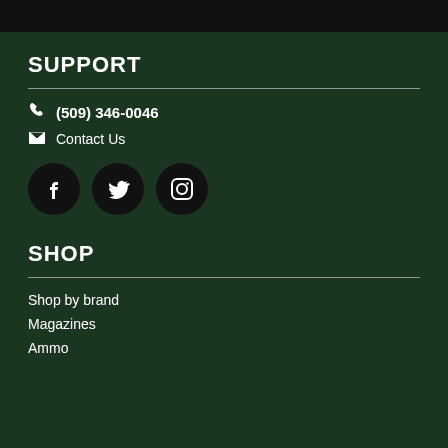SUPPORT
(509) 346-0046
Contact Us
[Figure (other): Social media icons: Facebook, Twitter, Instagram]
SHOP
Shop by brand
Magazines
Ammo